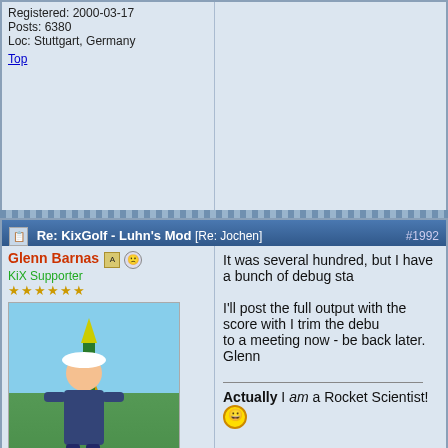Registered: 2000-03-17
Posts: 6380
Loc: Stuttgart, Germany
Top
Re: KixGolf - Luhn's Mod [Re: Jochen] #1992
Glenn Barnas
KiX Supporter
It was several hundred, but I have a bunch of debug sta...
I'll post the full output with the score with I trim the debu... to a meeting now - be back later.
Glenn
Actually I am a Rocket Scientist! 😀
Registered: 2003-01-28
Posts: 4371
Loc: New Jersey
Top
Re: KixGolf - Luhn's Mod [Re: Glenn Barnas] #1992
Jochen
KiX Supporter
hmm .. my score is 140 but code fails, dunno why thou...
[Figure (screenshot): Project Euler website banner with logo text and colored dots]